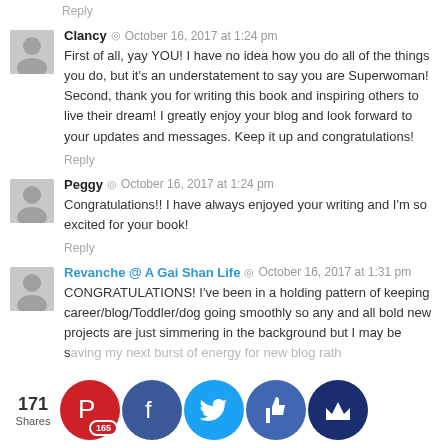Reply
Clancy  ◎  October 16, 2017 at 1:24 pm
First of all, yay YOU! I have no idea how you do all of the things you do, but it's an understatement to say you are Superwoman! Second, thank you for writing this book and inspiring others to live their dream! I greatly enjoy your blog and look forward to your updates and messages. Keep it up and congratulations!
Reply
Peggy  ◎  October 16, 2017 at 1:24 pm
Congratulations!! I have always enjoyed your writing and I'm so excited for your book!
Reply
Revanche @ A Gai Shan Life  ◎  October 16, 2017 at 1:31 pm
CONGRATULATIONS! I've been in a holding pattern of keeping career/blog/Toddler/dog going smoothly so any and all bold new projects are just simmering in the background but I may be saving my next burst of energy for new blog rather than work projects. Building a family is the top priority.
[Figure (infographic): Social share bar with 171 Shares, Pinterest (165), Facebook, Twitter, thumbs up, and crown buttons]